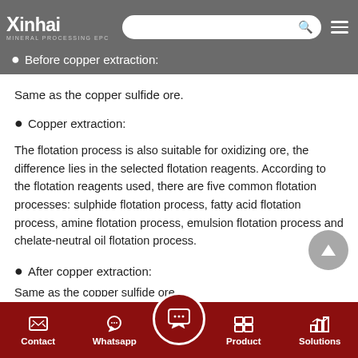Xinhai MINERAL PROCESSING EPC
Before copper extraction:
Same as the copper sulfide ore.
Copper extraction:
The flotation process is also suitable for oxidizing ore, the difference lies in the selected flotation reagents. According to the flotation reagents used, there are five common flotation processes: sulphide flotation process, fatty acid flotation process, amine flotation process, emulsion flotation process and chelate-neutral oil flotation process.
After copper extraction:
Contact   Whatsapp   Product   Solutions